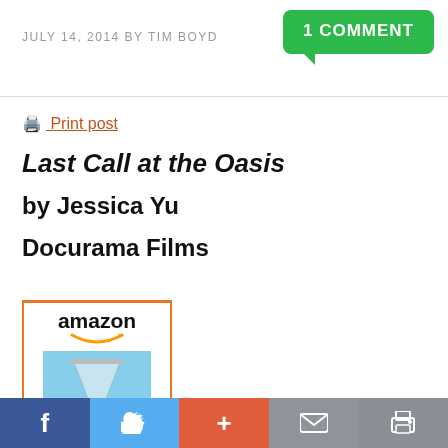JULY 14, 2014 BY TIM BOYD
1 COMMENT
🖨️ Print post
Last Call at the Oasis
by Jessica Yu
Docurama Films
[Figure (other): Amazon widget showing book cover for 'Last Call at the Oasis' priced at $5.99]
f  [Twitter bird]  +  [envelope]  [printer]